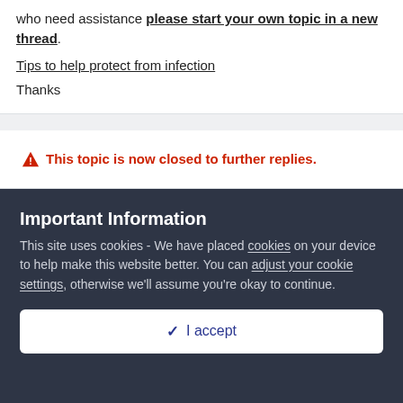who need assistance please start your own topic in a new thread.
Tips to help protect from infection
Thanks
⚠ This topic is now closed to further replies.
Important Information
This site uses cookies - We have placed cookies on your device to help make this website better. You can adjust your cookie settings, otherwise we'll assume you're okay to continue.
✓ I accept